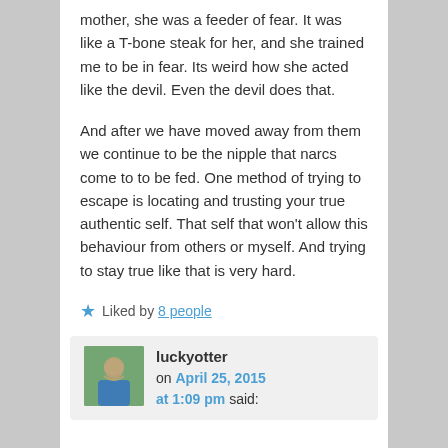mother, she was a feeder of fear. It was like a T-bone steak for her, and she trained me to be in fear. Its weird how she acted like the devil. Even the devil does that.
And after we have moved away from them we continue to be the nipple that narcs come to to be fed. One method of trying to escape is locating and trusting your true authentic self. That self that won't allow this behaviour from others or myself. And trying to stay true like that is very hard.
Liked by 8 people
luckyotter on April 25, 2015 at 1:09 pm said: